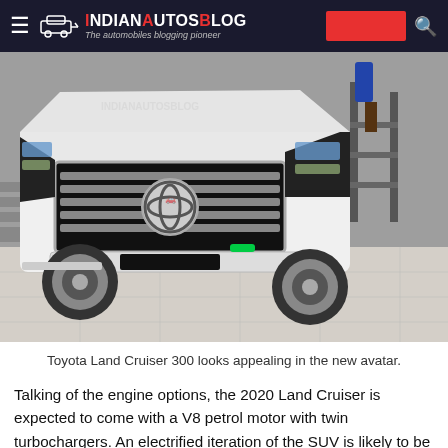IndianAutosBlog — The automobiles blogging pioneer
[Figure (photo): Front view of a white Toyota Land Cruiser 300 SUV parked indoors, showing large chrome grille, Toyota logo, LED headlights, and a watermark reading IndianAutosBlog]
Toyota Land Cruiser 300 looks appealing in the new avatar.
Talking of the engine options, the 2020 Land Cruiser is expected to come with a V8 petrol motor with twin turbochargers. An electrified iteration of the SUV is likely to be introduced at a later stage. For select markets, Toyota will